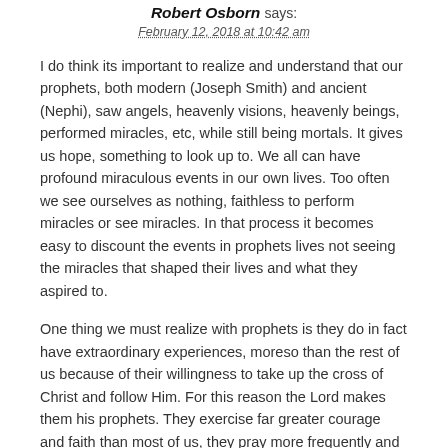Robert Osborn says: February 12, 2018 at 10:42 am
I do think its important to realize and understand that our prophets, both modern (Joseph Smith) and ancient (Nephi), saw angels, heavenly visions, heavenly beings, performed miracles, etc, while still being mortals. It gives us hope, something to look up to. We all can have profound miraculous events in our own lives. Too often we see ourselves as nothing, faithless to perform miracles or see miracles. In that process it becomes easy to discount the events in prophets lives not seeing the miracles that shaped their lives and what they aspired to.
One thing we must realize with prophets is they do in fact have extraordinary experiences, moreso than the rest of us because of their willingness to take up the cross of Christ and follow Him. For this reason the Lord makes them his prophets. They exercise far greater courage and faith than most of us, they pray more frequently and are far more diligent in performing tasks for the Lord. Above all, they